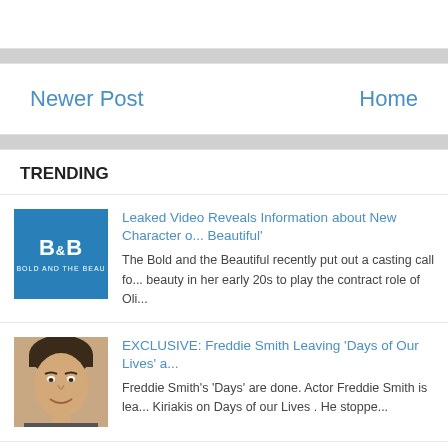Newer Post    Home
TRENDING
Leaked Video Reveals Information about New Character on 'Bold and Beautiful'
The Bold and the Beautiful recently put out a casting call for a beauty in her early 20s to play the contract role of Oli...
EXCLUSIVE: Freddie Smith Leaving 'Days of Our Lives' a...
Freddie Smith's 'Days' are done. Actor Freddie Smith is lea... Kiriakis on Days of our Lives . He stoppe...
The Complete Story of 'The Doctors' (1963-1973)
Daytime TV covered the world of soap operas for decades before finall... the mid-70s, the magazine did an excellen...